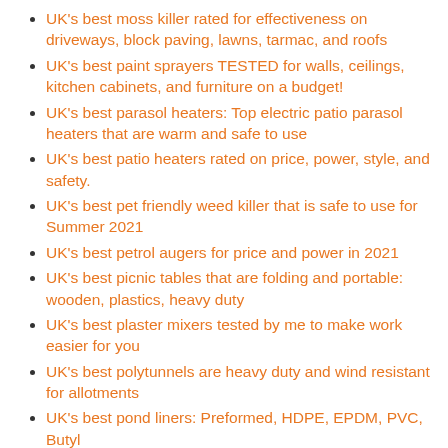UK's best moss killer rated for effectiveness on driveways, block paving, lawns, tarmac, and roofs
UK's best paint sprayers TESTED for walls, ceilings, kitchen cabinets, and furniture on a budget!
UK's best parasol heaters: Top electric patio parasol heaters that are warm and safe to use
UK's best patio heaters rated on price, power, style, and safety.
UK's best pet friendly weed killer that is safe to use for Summer 2021
UK's best petrol augers for price and power in 2021
UK's best picnic tables that are folding and portable: wooden, plastics, heavy duty
UK's best plaster mixers tested by me to make work easier for you
UK's best polytunnels are heavy duty and wind resistant for allotments
UK's best pond liners: Preformed, HDPE, EPDM, PVC, Butyl
UK's best portable fire pit for camping and beaches: gas,